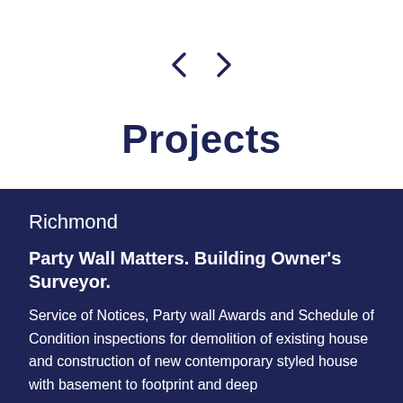[Figure (other): Navigation arrows (left and right chevrons) in dark navy color]
Projects
Richmond
Party Wall Matters. Building Owner's Surveyor.
Service of Notices, Party wall Awards and Schedule of Condition inspections for demolition of existing house and construction of new contemporary styled house with basement to footprint and deep